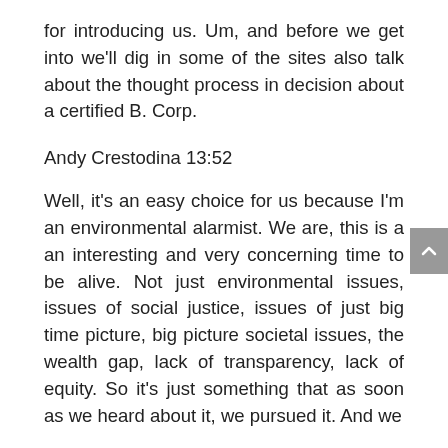for introducing us. Um, and before we get into we'll dig in some of the sites also talk about the thought process in decision about a certified B. Corp.
Andy Crestodina 13:52
Well, it's an easy choice for us because I'm an environmental alarmist. We are, this is a an interesting and very concerning time to be alive. Not just environmental issues, issues of social justice, issues of just big time picture, big picture societal issues, the wealth gap, lack of transparency, lack of equity. So it's just something that as soon as we heard about it, we pursued it. And we